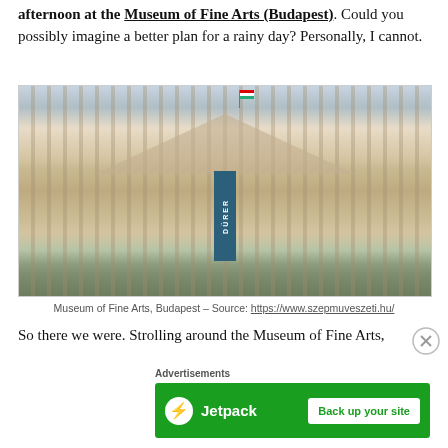afternoon at the Museum of Fine Arts (Budapest). Could you possibly imagine a better plan for a rainy day? Personally, I cannot.
[Figure (photo): Exterior photograph of the Museum of Fine Arts Budapest, a neoclassical building with large columns, a triangular pediment with sculptures, a Hungarian flag on top, and a Dürer exhibition banner hanging between the columns.]
Museum of Fine Arts, Budapest – Source: https://www.szepmuveszeti.hu/
So there we were. Strolling around the Museum of Fine Arts,
Advertisements
[Figure (screenshot): Jetpack advertisement banner with green background showing Jetpack logo and 'Back up your site' button]